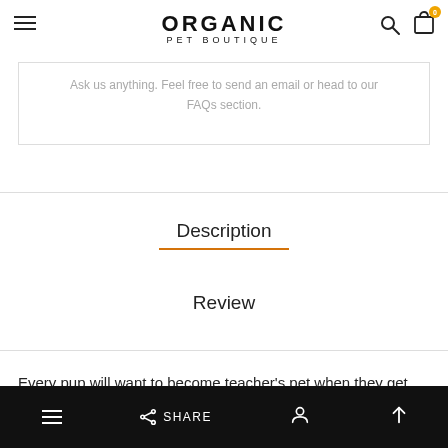ORGANIC PET BOUTIQUE
Ask us anything. Feel free to send an email or head to our FAQs section.
Description
Review
Every pup will want to become teacher's pet when they get
SHARE